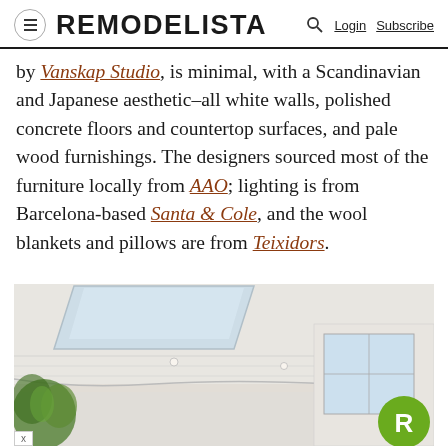REMODELISTA  Login  Subscribe
by Vanskap Studio, is minimal, with a Scandinavian and Japanese aesthetic–all white walls, polished concrete floors and countertop surfaces, and pale wood furnishings. The designers sourced most of the furniture locally from AAO; lighting is from Barcelona-based Santa & Cole, and the wool blankets and pillows are from Teixidors.
[Figure (photo): Interior room photo showing white ceiling with skylights and recessed lighting, bright airy space with plants visible at lower left, and windows at right.]